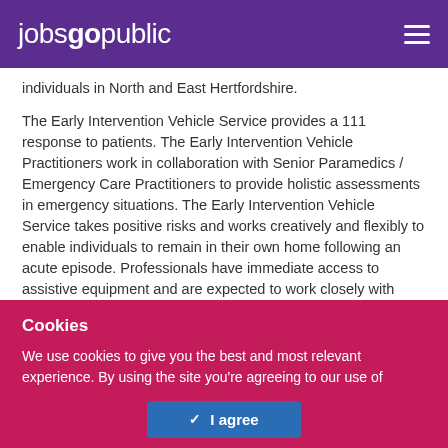jobsgopublic
individuals in North and East Hertfordshire.
The Early Intervention Vehicle Service provides a 111 response to patients. The Early Intervention Vehicle Practitioners work in collaboration with Senior Paramedics / Emergency Care Practitioners to provide holistic assessments in emergency situations. The Early Intervention Vehicle Service takes positive risks and works creatively and flexibly to enable individuals to remain in their own home following an acute episode. Professionals have immediate access to assistive equipment and are expected to work closely with local
Cookies
We use cookies to give you the best and most relevant experience. By using the site you're agreeing to our use of cookies - read more in our cookie policy
I agree